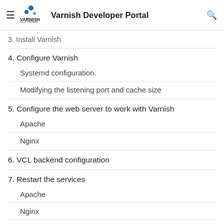Varnish Developer Portal
3. Install Varnish
4. Configure Varnish
Systemd configuration.
Modifying the listening port and cache size
5. Configure the web server to work with Varnish
Apache
Nginx
6. VCL backend configuration
7. Restart the services
Apache
Nginx